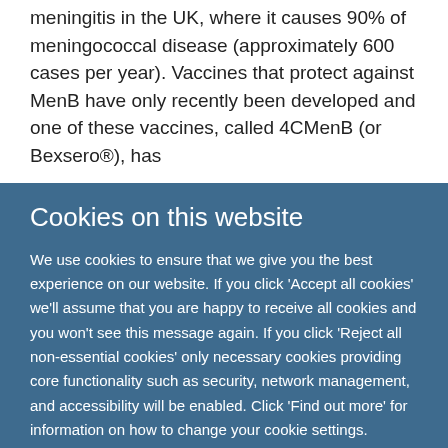meningitis in the UK, where it causes 90% of meningococcal disease (approximately 600 cases per year). Vaccines that protect against MenB have only recently been developed and one of these vaccines, called 4CMenB (or Bexsero®), has
Cookies on this website
We use cookies to ensure that we give you the best experience on our website. If you click 'Accept all cookies' we'll assume that you are happy to receive all cookies and you won't see this message again. If you click 'Reject all non-essential cookies' only necessary cookies providing core functionality such as security, network management, and accessibility will be enabled. Click 'Find out more' for information on how to change your cookie settings.
Accept all cookies | Reject all non-essential cookies | Find out more